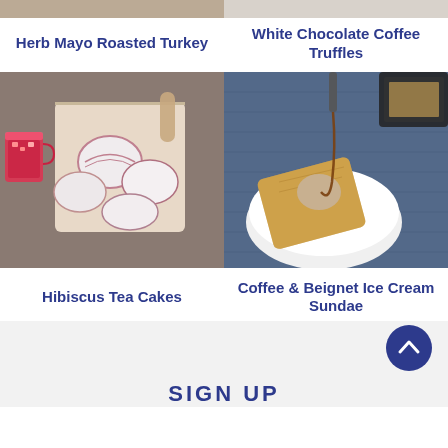[Figure (photo): Partial top strip showing two food photos cropped at top]
Herb Mayo Roasted Turkey
White Chocolate Coffee Truffles
[Figure (photo): Hibiscus Tea Cakes - pink and white decorated cookies/cakes on a board with red hibiscus drink]
[Figure (photo): Coffee & Beignet Ice Cream Sundae - beignet in a white bowl with coffee sauce being poured]
Hibiscus Tea Cakes
Coffee & Beignet Ice Cream Sundae
[Figure (other): Scroll-to-top button (blue circle with upward chevron)]
SIGN UP